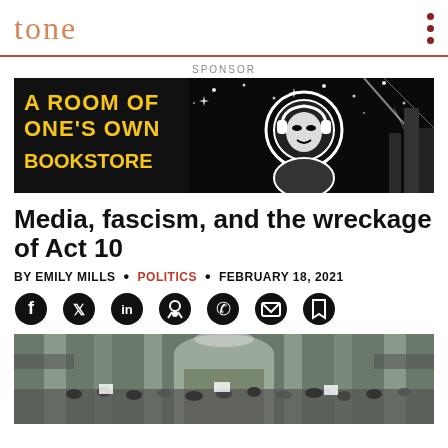tone
SPONSOR
[Figure (illustration): Advertisement banner for 'A Room of One's Own Bookstore' featuring black and white comic-style artwork of a figure in a space helmet, with yellow bold text on the left.]
Media, fascism, and the wreckage of Act 10
BY EMILY MILLS • POLITICS • FEBRUARY 18, 2021
[Figure (other): Social sharing icons: Facebook, Twitter, LinkedIn, Reddit, WhatsApp, Email, Bookmark]
[Figure (photo): Interior of a capitol building rotunda viewed from above, crowded with protesters holding signs on multiple levels.]